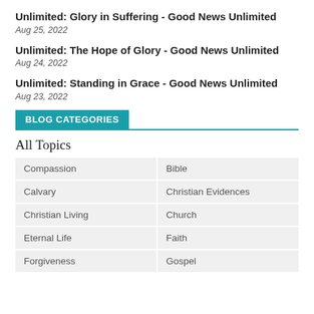Unlimited: Glory in Suffering - Good News Unlimited
Aug 25, 2022
Unlimited: The Hope of Glory - Good News Unlimited
Aug 24, 2022
Unlimited: Standing in Grace - Good News Unlimited
Aug 23, 2022
BLOG CATEGORIES
All Topics
| Compassion | Bible |
| Calvary | Christian Evidences |
| Christian Living | Church |
| Eternal Life | Faith |
| Forgiveness | Gospel |